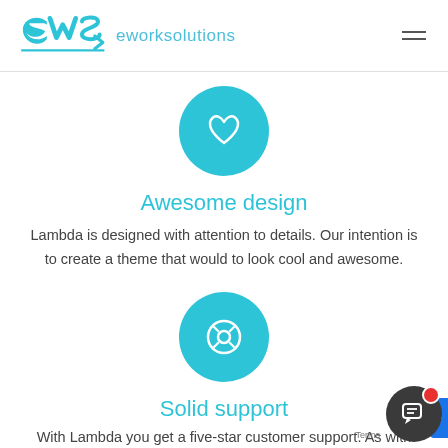ews eworksolutions
[Figure (illustration): Teal/cyan circular icon with a white heart symbol inside]
Awesome design
Lambda is designed with attention to details. Our intention is to create a theme that would to look cool and awesome.
[Figure (illustration): Teal/cyan circular icon with a white life-preserver / support symbol inside]
Solid support
With Lambda you get a five-star customer support. As with...